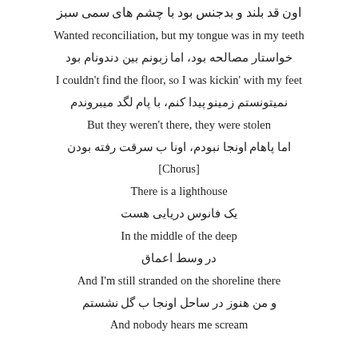اون قد بلند و بدجنس بود با چشم های سمی سبز
Wanted reconciliation, but my tongue was in my teeth
خواستار مصالحه بود، اما زبونم بین دندونام بود
I couldn't find the floor, so I was kickin' with my feet
نمیتونستم زمینو پیدا کنم، با پام لگد میبروندم
But they weren't there, they were stolen
اما پاهام اونجا نبودم، اونا ب سرقت رفته بودن
[Chorus]
There is a lighthouse
یک فانوس دریایی هست
In the middle of the deep
در وسط اعماق
And I'm still stranded on the shoreline there
و من هنوز در ساحل اونجا ب گل نشستم
And nobody hears me scream